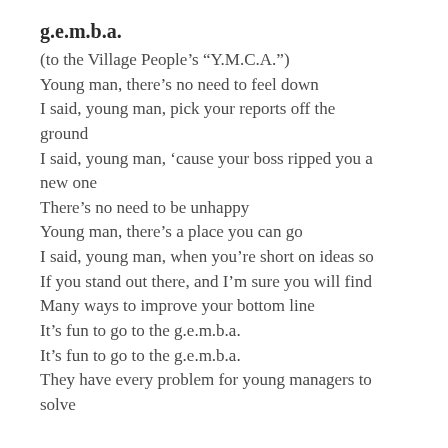g.e.m.b.a.
(to the Village People’s “Y.M.C.A.”)
Young man, there’s no need to feel down
I said, young man, pick your reports off the ground
I said, young man, ‘cause your boss ripped you a new one
There’s no need to be unhappy
Young man, there’s a place you can go
I said, young man, when you’re short on ideas so
If you stand out there, and I’m sure you will find
Many ways to improve your bottom line
It’s fun to go to the g.e.m.b.a.
It’s fun to go to the g.e.m.b.a.
They have every problem for young managers to solve